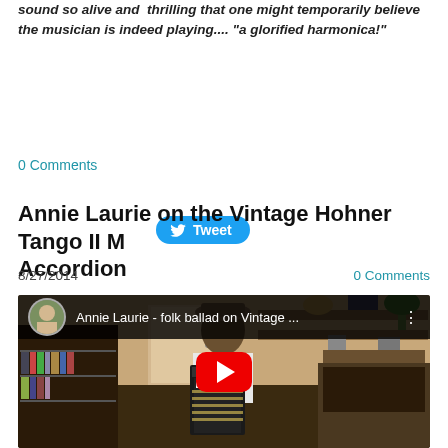sound so alive and thrilling that one might temporarily believe the musician is indeed playing.... "a glorified harmonica!"
[Figure (other): Twitter Tweet button with bird logo]
0 Comments
Annie Laurie on the Vintage Hohner Tango II M Accordion
8/27/2014
0 Comments
[Figure (screenshot): YouTube video thumbnail showing a man in a hat playing a piano accordion in a room, with the YouTube play button overlay and title 'Annie Laurie - folk ballad on Vintage ...']